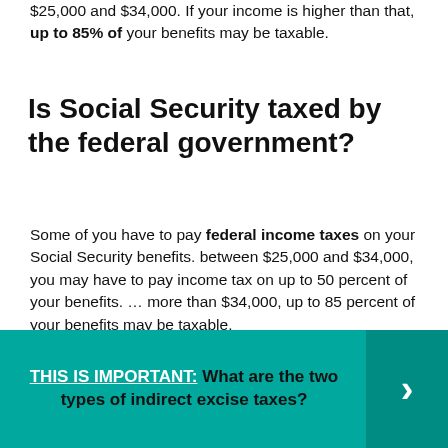$25,000 and $34,000. If your income is higher than that, up to 85% of your benefits may be taxable.
Is Social Security taxed by the federal government?
Some of you have to pay federal income taxes on your Social Security benefits. between $25,000 and $34,000, you may have to pay income tax on up to 50 percent of your benefits. ... more than $34,000, up to 85 percent of your benefits may be taxable.
THIS IS IMPORTANT: What are the two types of indirect excise taxes?